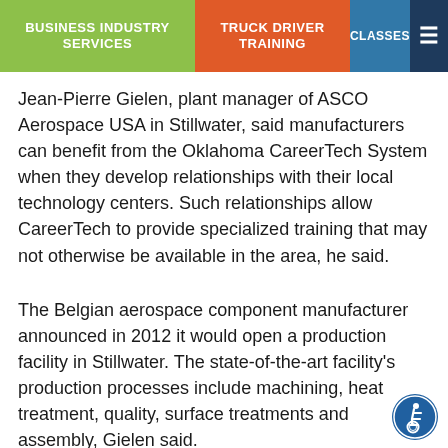BUSINESS INDUSTRY SERVICES | TRUCK DRIVER TRAINING | CLASSES | ≡
Jean-Pierre Gielen, plant manager of ASCO Aerospace USA in Stillwater, said manufacturers can benefit from the Oklahoma CareerTech System when they develop relationships with their local technology centers. Such relationships allow CareerTech to provide specialized training that may not otherwise be available in the area, he said.
The Belgian aerospace component manufacturer announced in 2012 it would open a production facility in Stillwater. The state-of-the-art facility's production processes include machining, heat treatment, quality, surface treatments and assembly, Gielen said.
[Figure (illustration): Accessibility wheelchair icon — blue circle with white wheelchair user symbol]